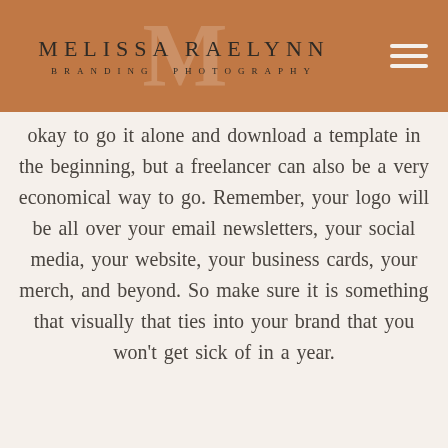MELISSA RAELYNN BRANDING PHOTOGRAPHY
okay to go it alone and download a template in the beginning, but a freelancer can also be a very economical way to go. Remember, your logo will be all over your email newsletters, your social media, your website, your business cards, your merch, and beyond. So make sure it is something that visually that ties into your brand that you won't get sick of in a year.